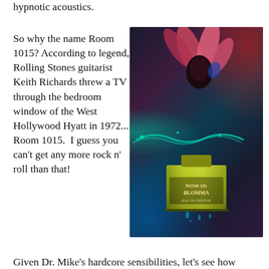hypnotic acoustics.
So why the name Room 1015? According to legend, Rolling Stones guitarist Keith Richards threw a TV through the bedroom window of the West Hollywood Hyatt in 1972... Room 1015.  I guess you can't get any more rock n' roll than that!
[Figure (photo): A dramatic product photo of a Room 1015 perfume bottle labeled 'BLOMMA' with colorful splashes of liquid and pink flower petals emerging from the top, set against a dark red and blue background.]
Given Dr. Mike's hardcore sensibilities, let's see how